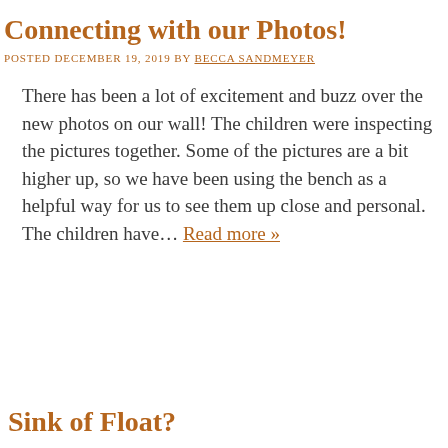Connecting with our Photos!
POSTED DECEMBER 19, 2019 BY BECCA SANDMEYER
There has been a lot of excitement and buzz over the new photos on our wall! The children were inspecting the pictures together. Some of the pictures are a bit higher up, so we have been using the bench as a helpful way for us to see them up close and personal. The children have… Read more »
Sink of Float?